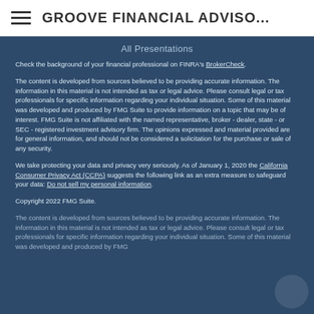GROOVE FINANCIAL ADVISO...
All Presentations
Check the background of your financial professional on FINRA's BrokerCheck.
The content is developed from sources believed to be providing accurate information. The information in this material is not intended as tax or legal advice. Please consult legal or tax professionals for specific information regarding your individual situation. Some of this material was developed and produced by FMG Suite to provide information on a topic that may be of interest. FMG Suite is not affiliated with the named representative, broker - dealer, state - or SEC - registered investment advisory firm. The opinions expressed and material provided are for general information, and should not be considered a solicitation for the purchase or sale of any security.
We take protecting your data and privacy very seriously. As of January 1, 2020 the California Consumer Privacy Act (CCPA) suggests the following link as an extra measure to safeguard your data: Do not sell my personal information.
Copyright 2022 FMG Suite.
The content is developed from sources believed to be providing accurate information. The information in this material is not intended as tax or legal advice. Please consult legal or tax professionals for specific information regarding your individual situation. Some of this material was developed and produced by FMG